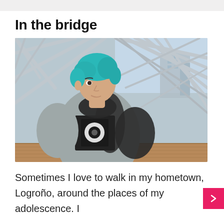In the bridge
[Figure (photo): A person with teal/blue hair wearing a grey puffer jacket over a black t-shirt with a circular graphic, standing inside a modern bridge structure with a steel lattice/grid roof. Buildings are visible in the background through the structure.]
Sometimes I love to walk in my hometown, Logroño, around the places of my adolescence. I